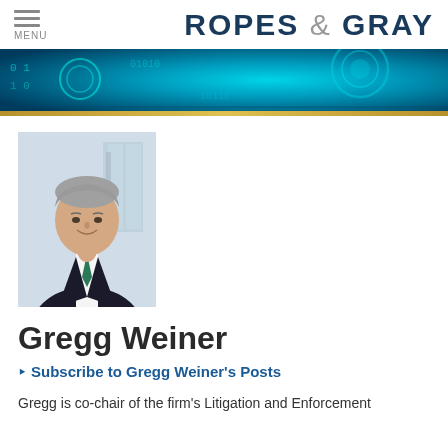ROPES & GRAY
[Figure (photo): Decorative banner with blue digital/technology themed background with circuit-like patterns in cyan and teal tones.]
[Figure (photo): Professional headshot of Gregg Weiner, a middle-aged man with short gray hair, wearing a dark suit and green tie, smiling, with a blurred city building background.]
Gregg Weiner
Subscribe to Gregg Weiner's Posts
Gregg is co-chair of the firm's Litigation and Enforcement